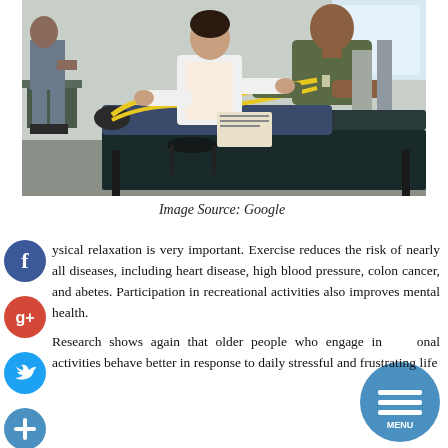[Figure (photo): A physical therapist (woman in white coat) assists a male patient using a resistance band for leg exercise on a treatment table. Another patient is visible in the background seated on a therapy bench in a rehabilitation clinic.]
Image Source: Google
Physical relaxation is very important. Exercise reduces the risk of nearly all diseases, including heart disease, high blood pressure, colon cancer, and diabetes. Participation in recreational activities also improves mental health.
Research shows again that older people who engage in recreational activities behave better in response to daily stressful and frustrating life